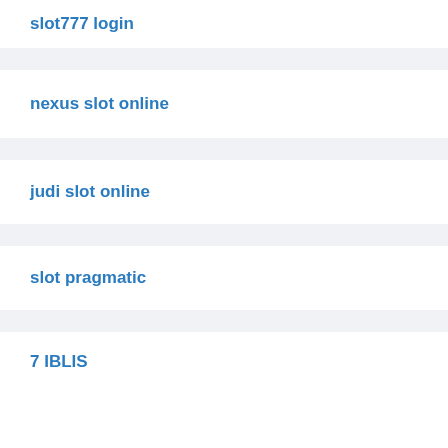slot777 login
nexus slot online
judi slot online
slot pragmatic
7 IBLIS